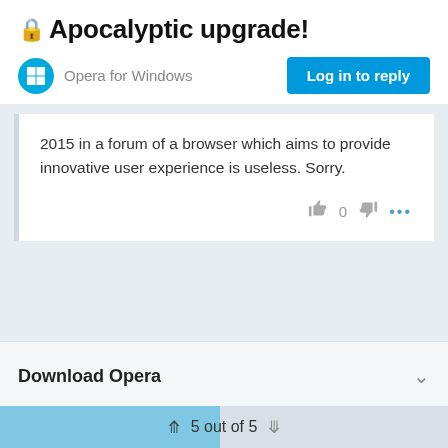🔒 Apocalyptic upgrade!
Opera for Windows
2015 in a forum of a browser which aims to provide innovative user experience is useless. Sorry.
Download Opera
5 out of 5